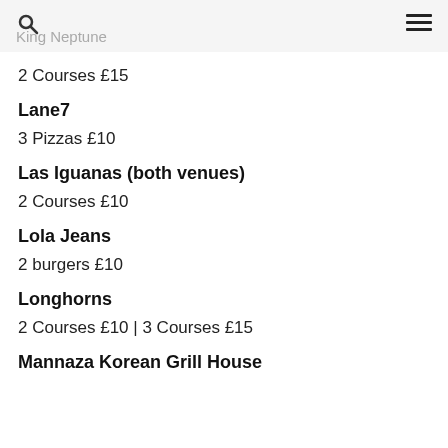King Neptune
2 Courses £15
Lane7
3 Pizzas £10
Las Iguanas (both venues)
2 Courses £10
Lola Jeans
2 burgers £10
Longhorns
2 Courses £10  |  3 Courses £15
Mannaza Korean Grill House